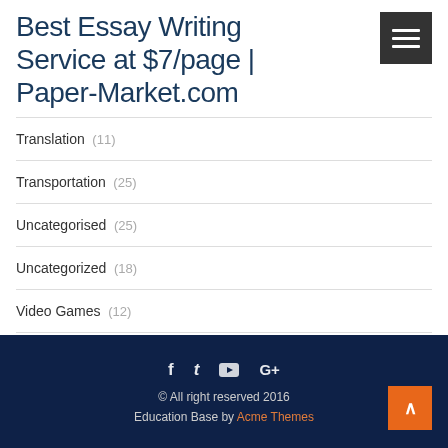Best Essay Writing Service at $7/page | Paper-Market.com
Translation (11)
Transportation (25)
Uncategorised (25)
Uncategorized (18)
Video Games (12)
Young People (494)
© All right reserved 2016
Education Base by Acme Themes